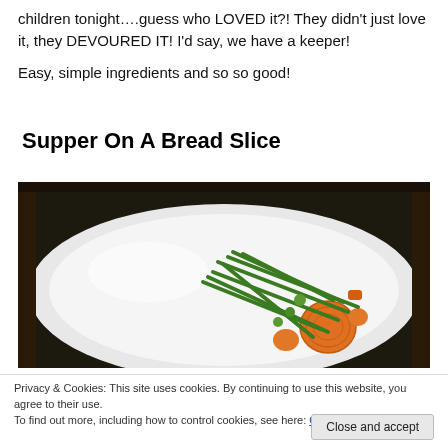children tonight….guess who LOVED it?!  They didn't just love it, they DEVOURED IT!  I'd say, we have a keeper!
Easy, simple ingredients and so so good!
Supper On A Bread Slice
[Figure (photo): A white plate with green beans and sliced carrots arranged on it, on a dark background.]
Privacy & Cookies: This site uses cookies. By continuing to use this website, you agree to their use.
To find out more, including how to control cookies, see here: Cookie Policy
Close and accept